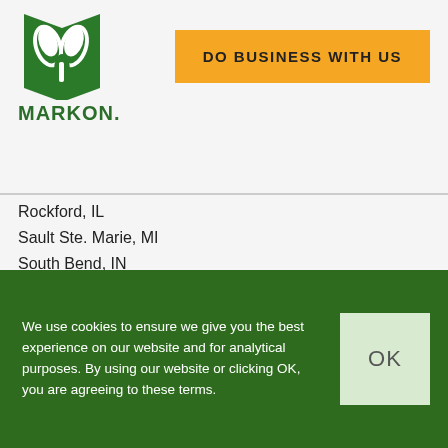[Figure (logo): Markon brand logo: green stylized book/leaves icon above the word MARKON in bold green letters]
[Figure (other): Orange button with text DO BUSINESS WITH US]
Rockford, IL
Sault Ste. Marie, MI
South Bend, IN
Springfield, IL
Toledo, OH
[Figure (other): Share it label with Facebook, Twitter, and Pinterest social media icon buttons]
We use cookies to ensure we give you the best experience on our website and for analytical purposes. By using our website or clicking OK, you are agreeing to these terms.
[Figure (other): OK button on dark green cookie consent banner]